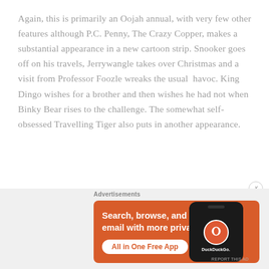Again, this is primarily an Oojah annual, with very few other features although P.C. Penny, The Crazy Copper, makes a substantial appearance in a new cartoon strip. Snooker goes off on his travels, Jerrywangle takes over Christmas and a visit from Professor Foozle wreaks the usual  havoc. King Dingo wishes for a brother and then wishes he had not when Binky Bear rises to the challenge. The somewhat self-obsessed Travelling Tiger also puts in another appearance.
Advertisements
[Figure (other): DuckDuckGo advertisement banner with orange background. Text reads: 'Search, browse, and email with more privacy. All in One Free App' with DuckDuckGo logo on a phone mockup on the right side.]